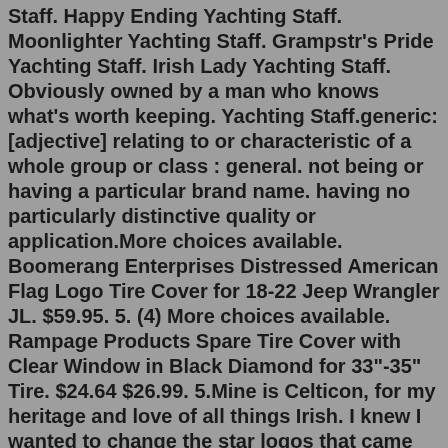Staff. Happy Ending Yachting Staff. Moonlighter Yachting Staff. Grampstr's Pride Yachting Staff. Irish Lady Yachting Staff. Obviously owned by a man who knows what's worth keeping. Yachting Staff.generic: [adjective] relating to or characteristic of a whole group or class : general. not being or having a particular brand name. having no particularly distinctive quality or application.More choices available. Boomerang Enterprises Distressed American Flag Logo Tire Cover for 18-22 Jeep Wrangler JL. $59.95. 5. (4) More choices available. Rampage Products Spare Tire Cover with Clear Window in Black Diamond for 33"-35" Tire. $24.64 $26.99. 5.Mine is Celticon, for my heritage and love of all things Irish. I knew I wanted to change the star logos that came on it and figured that a celtic knot would fit perfectly. Since celtic warriors used to paint themselves blue going in to battle, that fit with the blue exterior. Then I just used the standard 'icon' ending to make his name.May 20, 2014 - Explore Joe Milorey's board "Jeep stickers", followed by 119